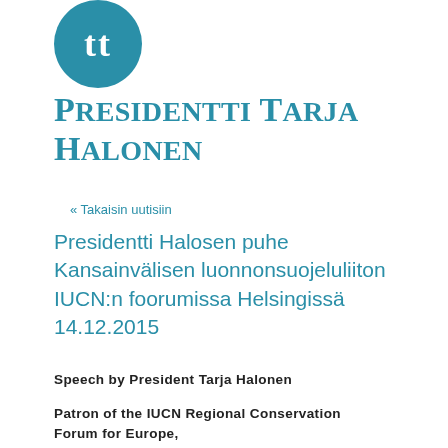[Figure (logo): Teal/blue circular logo with stylized letters or symbol at top of page]
Presidentti Tarja Halonen
« Takaisin uutisiin
Presidentti Halosen puhe Kansainvälisen luonnonsuojeluliiton IUCN:n foorumissa Helsingissä 14.12.2015
Speech by President Tarja Halonen
Patron of the IUCN Regional Conservation Forum for Europe,